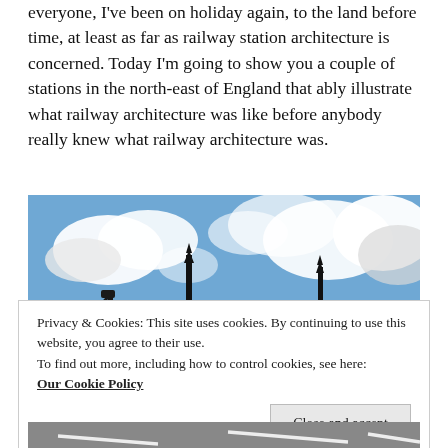everyone, I've been on holiday again, to the land before time, at least as far as railway station architecture is concerned. Today I'm going to show you a couple of stations in the north-east of England that ably illustrate what railway architecture was like before anybody really knew what railway architecture was.
[Figure (photo): Outdoor scene showing tall lamp posts / signal poles against a bright blue sky with large white clouds. The bottom of the image shows a road or platform surface with white markings.]
Privacy & Cookies: This site uses cookies. By continuing to use this website, you agree to their use.
To find out more, including how to control cookies, see here: Our Cookie Policy
[Close and accept]